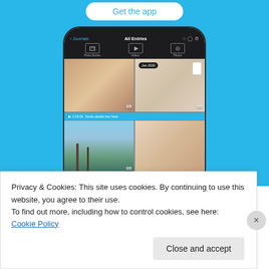[Figure (screenshot): Mobile app advertisement showing a phone mockup with a photo journaling app interface on a blue background, with a 'Get the app' button at the top]
REPORT THIS AD
Privacy & Cookies: This site uses cookies. By continuing to use this website, you agree to their use.
To find out more, including how to control cookies, see here: Cookie Policy
Close and accept